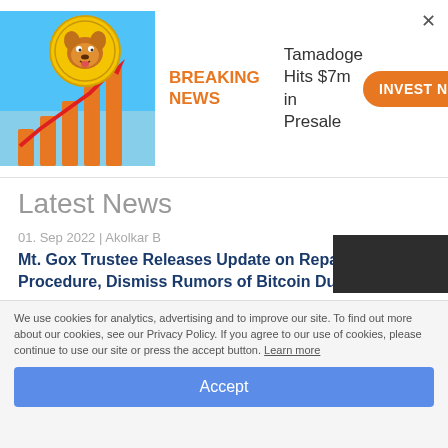[Figure (illustration): Tamadoge advertisement banner with dog coin image and bar chart with upward arrow]
Latest News
01. Sep 2022 | Akolkar B
Mt. Gox Trustee Releases Update on Repayment Procedure, Dismiss Rumors of Bitcoin Dump
30. Aug 2022 | Akolkar B
FBI Wants DeFi Platforms To Improve Their Security Measures And Reduce Theft Vulnerabilities
29. Aug 2022 | Akolkar B
Singapore Plans for Tougher Rules for Retail Crypto Trading, Probes Crypto Firms
We use cookies for analytics, advertising and to improve our site. To find out more about our cookies, see our Privacy Policy. If you agree to our use of cookies, please continue to use our site or press the accept button. Learn more